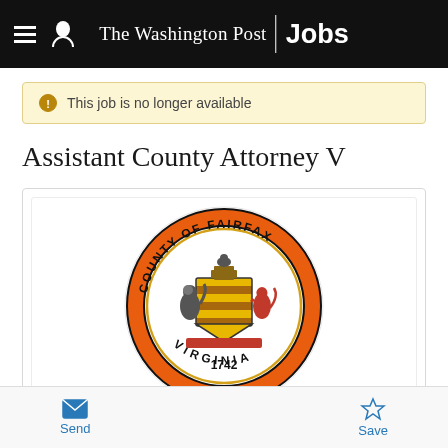The Washington Post Jobs
This job is no longer available
Assistant County Attorney V
[Figure (logo): Fairfax County Virginia official seal, circular orange and black design with coat of arms, dated 1742. Text reads COUNTY OF FAIRFAX around top arc and VIRGINIA around bottom.]
Send
Save